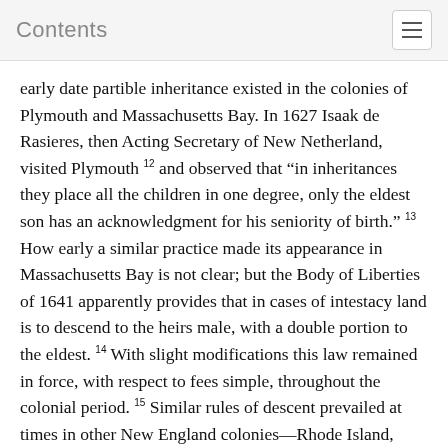Contents
early date partible inheritance existed in the colonies of Plymouth and Massachusetts Bay. In 1627 Isaak de Rasieres, then Acting Secretary of New Netherland, visited Plymouth 12 and observed that “in inheritances they place all the children in one degree, only the eldest son has an acknowledgment for his seniority of birth.” 13 How early a similar practice made its appearance in Massachusetts Bay is not clear; but the Body of Liberties of 1641 apparently provides that in cases of intestacy land is to descend to the heirs male, with a double portion to the eldest. 14 With slight modifications this law remained in force, with respect to fees simple, throughout the colonial period. 15 Similar rules of descent prevailed at times in other New England colonies—Rhode Island, Connecticut, New Hampshire—and seemed further to support the “gavelkind theory.”